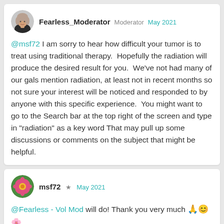Fearless_Moderator  Moderator  May 2021
@msf72 I am sorry to hear how difficult your tumor is to treat using traditional therapy.  Hopefully the radiation will produce the desired result for you.  We've not had many of our gals mention radiation, at least not in recent months so not sure your interest will be noticed and responded to by anyone with this specific experience.  You might want to go to the Search bar at the top right of the screen and type in "radiation" as a key word  That may pull up some discussions or comments on the subject that might be helpful.
msf72  ★  May 2021
@Fearless - Vol Mod will do! Thank you very much 🙏😊 🌸